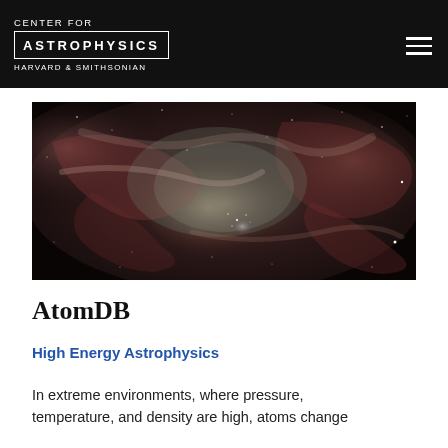CENTER FOR ASTROPHYSICS HARVARD & SMITHSONIAN
[Figure (photo): Nebula image showing cosmic gas clouds in red, brown, and grey tones with stars visible against a black background]
AtomDB
High Energy Astrophysics
In extreme environments, where pressure, temperature, and density are high, atoms change